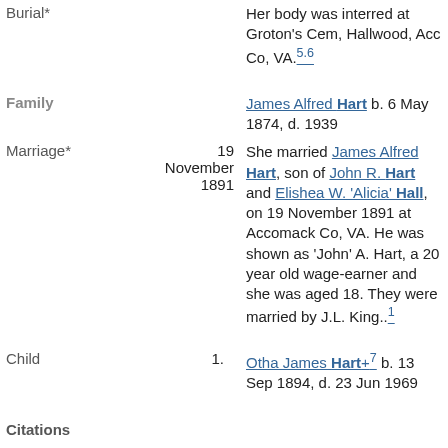| Field | Date | Details |
| --- | --- | --- |
| Burial* |  | Her body was interred at Groton's Cem, Hallwood, Acc Co, VA. 5.6 |
| Family |  | James Alfred Hart b. 6 May 1874, d. 1939 |
| Marriage* | 19 November 1891 | She married James Alfred Hart, son of John R. Hart and Elishea W. 'Alicia' Hall, on 19 November 1891 at Accomack Co, VA. He was shown as 'John' A. Hart, a 20 year old wage-earner and she was aged 18. They were married by J.L. King.. 1 |
| Child | 1. | Otha James Hart+ 7 b. 13 Sep 1894, d. 23 Jun 1969 |
Citations